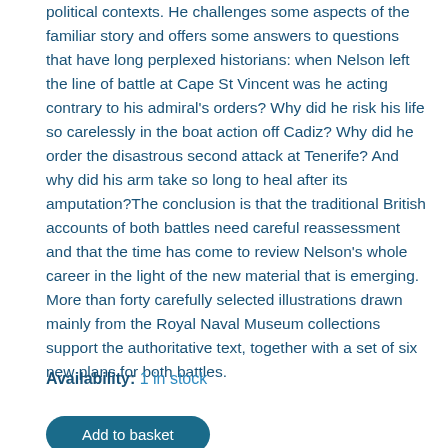political contexts. He challenges some aspects of the familiar story and offers some answers to questions that have long perplexed historians: when Nelson left the line of battle at Cape St Vincent was he acting contrary to his admiral's orders? Why did he risk his life so carelessly in the boat action off Cadiz? Why did he order the disastrous second attack at Tenerife? And why did his arm take so long to heal after its amputation?The conclusion is that the traditional British accounts of both battles need careful reassessment and that the time has come to review Nelson's whole career in the light of the new material that is emerging. More than forty carefully selected illustrations drawn mainly from the Royal Naval Museum collections support the authoritative text, together with a set of six new plans for both battles.
Availability: 1 in stock
Add to basket